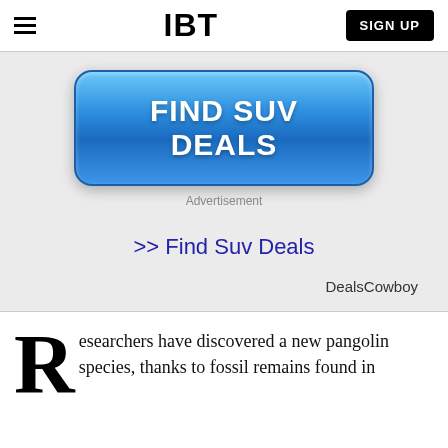IBT | SIGN UP
[Figure (other): Blue rounded rectangle button with white bold text: FIND SUV DEALS]
Advertisement
>> Find Suv Deals
DealsCowboy
Researchers have discovered a new pangolin species, thanks to fossil remains found in